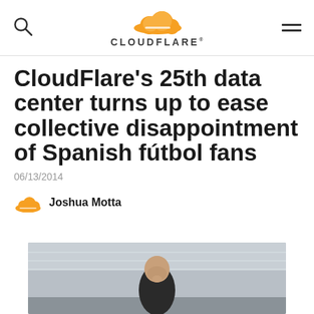CLOUDFLARE
CloudFlare's 25th data center turns up to ease collective disappointment of Spanish fútbol fans
06/13/2014
Joshua Motta
[Figure (photo): Photo of a man with head bowed, appearing dejected, at a sporting event. Background shows stadium seating.]